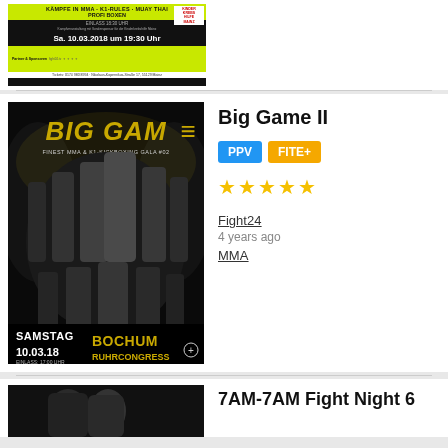[Figure (photo): Fight event promotional poster for Mainz MMA event on Sa. 10.03.2018 um 19:30 Uhr, yellow and black design with Kinderkrebshilfe Mainz logo]
[Figure (photo): Big Game II promotional poster - Finest MMA & K1-Kickboxing Gala #02, fighters posed on dark background, SAMSTAG 10.03.18 BOCHUM RUHRCONGRESS]
Big Game II
PPV  FITE+
★★★★★
Fight24
4 years ago
MMA
[Figure (photo): 7AM-7AM Fight Night 6 promotional image, partial view at bottom of page]